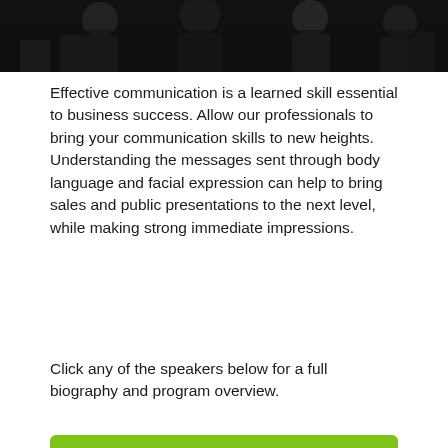[Figure (photo): Black and white photo of business professionals shaking hands, partially cropped at the top of the page]
Effective communication is a learned skill essential to business success. Allow our professionals to bring your communication skills to new heights. Understanding the messages sent through body language and facial expression can help to bring sales and public presentations to the next level, while making strong immediate impressions.
Click any of the speakers below for a full biography and program overview.
[Figure (other): Green button labeled 'Request Information']
[Figure (photo): Circular portrait photo of a blonde woman in a black top, smiling]
[Figure (photo): Circular portrait photo of a blonde woman in a blue jacket, smiling]